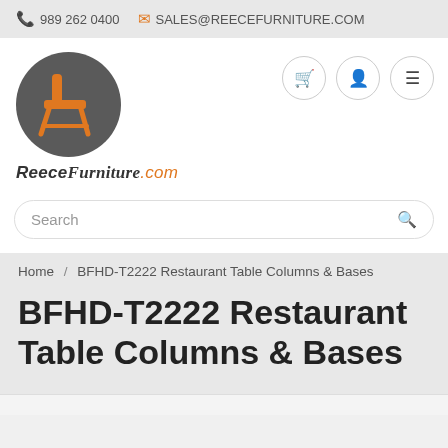📞 989 262 0400  ✉ SALES@REECEFURNITURE.COM
[Figure (logo): ReeceFurniture.com logo: dark grey circle with orange chair silhouette, italic text 'ReeceFurniture.com' below]
Search
Home / BFHD-T2222 Restaurant Table Columns & Bases
BFHD-T2222 Restaurant Table Columns & Bases